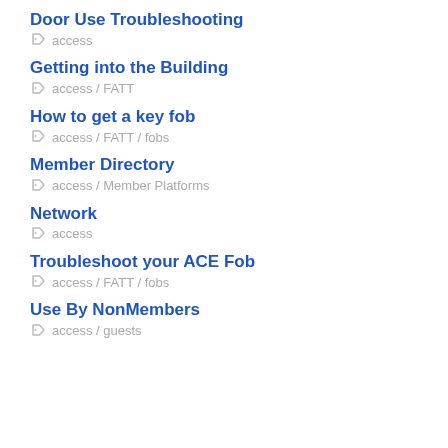Door Use Troubleshooting
Getting into the Building
How to get a key fob
Member Directory
Network
Troubleshoot your ACE Fob
Use By NonMembers